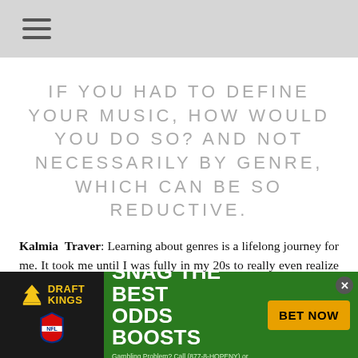≡
IF YOU HAD TO DEFINE YOUR MUSIC, HOW WOULD YOU DO SO? AND NOT NECESSARILY BY GENRE, WHICH CAN BE SO REDUCTIVE.
Kalmia Traver: Learning about genres is a lifelong journey for me. It took me until I was fully in my 20s to really even realize that there's
[Figure (infographic): DraftKings NFL advertisement banner with green background. Text reads 'SNAG THE BEST ODDS BOOSTS' with 'BET NOW' button. Includes DraftKings and NFL logos. Fine print: 'Gambling Problem? Call (877-8-HOPENY) or text HOPENY (467369).']